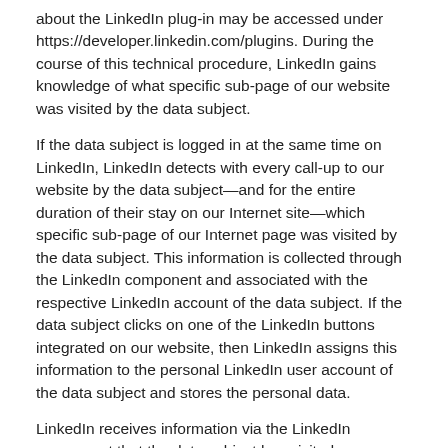about the LinkedIn plug-in may be accessed under https://developer.linkedin.com/plugins. During the course of this technical procedure, LinkedIn gains knowledge of what specific sub-page of our website was visited by the data subject.
If the data subject is logged in at the same time on LinkedIn, LinkedIn detects with every call-up to our website by the data subject—and for the entire duration of their stay on our Internet site—which specific sub-page of our Internet page was visited by the data subject. This information is collected through the LinkedIn component and associated with the respective LinkedIn account of the data subject. If the data subject clicks on one of the LinkedIn buttons integrated on our website, then LinkedIn assigns this information to the personal LinkedIn user account of the data subject and stores the personal data.
LinkedIn receives information via the LinkedIn component that the data subject has visited our website, provided that the data subject is logged in at LinkedIn at the time of the call-up to our website. This occurs regardless of whether the person clicks on the LinkedIn button or not. If such a transmission of information to LinkedIn is not desirable for the data subject, then he or she may prevent this by logging off from their LinkedIn account before a call-up to our website is made.